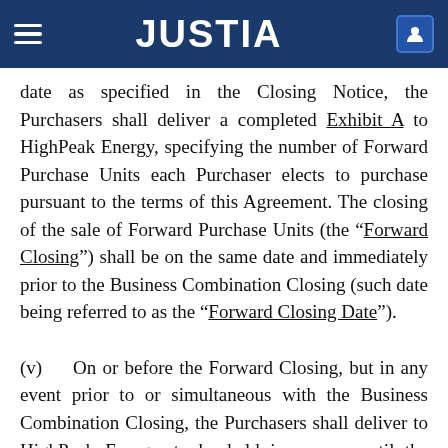JUSTIA
date as specified in the Closing Notice, the Purchasers shall deliver a completed Exhibit A to HighPeak Energy, specifying the number of Forward Purchase Units each Purchaser elects to purchase pursuant to the terms of this Agreement. The closing of the sale of Forward Purchase Units (the “Forward Closing”) shall be on the same date and immediately prior to the Business Combination Closing (such date being referred to as the “Forward Closing Date”).
(v)    On or before the Forward Closing, but in any event prior to or simultaneous with the Business Combination Closing, the Purchasers shall deliver to HighPeak Energy, to be held in escrow until the Forward Closing, the aggregate Forward Purchase Price for the Forward Purchase Units to be purchased by one or more of the